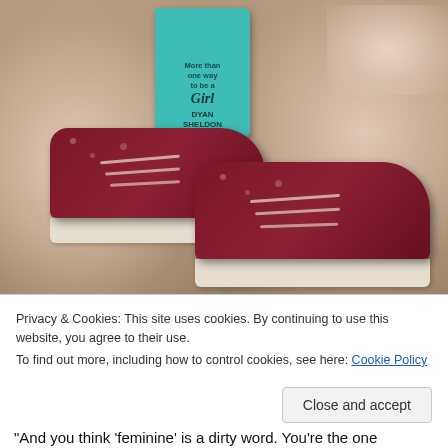[Figure (photo): Photo of a pink tulle dress laid flat on a carpet, with a teal book titled 'More Than One Way to be a Girl' by Dyan Sheldon placed on top, and two dark red/maroon patterned canvas sneakers placed in the center of the dress.]
Privacy & Cookies: This site uses cookies. By continuing to use this website, you agree to their use.
To find out more, including how to control cookies, see here: Cookie Policy
Close and accept
“And you think ‘feminine’ is a dirty word. You’re the one